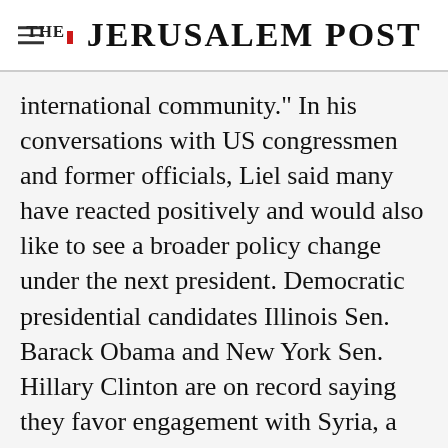THE JERUSALEM POST
international community." In his conversations with US congressmen and former officials, Liel said many have reacted positively and would also like to see a broader policy change under the next president. Democratic presidential candidates Illinois Sen. Barack Obama and New York Sen. Hillary Clinton are on record saying they favor engagement with Syria, a sentiment they touched on at their debate Thursday night.
Advertisement